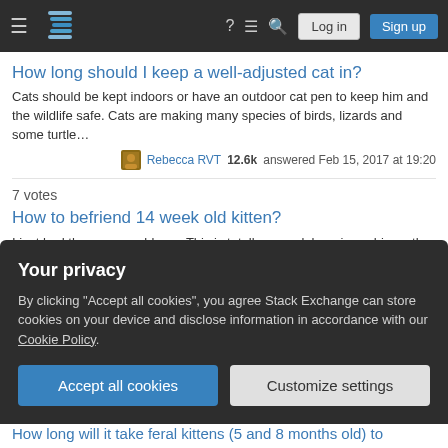Stack Exchange navigation bar with hamburger, logo, help, chat, search icons, Log in and Sign up buttons
How long should I keep a well-adjusted cat in?
Cats should be kept indoors or have an outdoor cat pen to keep him and the wildlife safe. Cats are making many species of birds, lizards and some turtle…
Rebecca RVT 12.6k answered Feb 15, 2017 at 19:20
How to befriend 14 week old kitten?
I just had the same problems. This is totally normal, he misses his mother and probably his siblings, too. I also couldn't sleep well for a week because of th…
Cris 419 answered Aug 14, 2018 at 13:50
5 votes  ✓ Accepted
Your privacy
By clicking "Accept all cookies", you agree Stack Exchange can store cookies on your device and disclose information in accordance with our Cookie Policy.
Accept all cookies
Customize settings
How long will it take feral kittens (5 and 8 months old) to